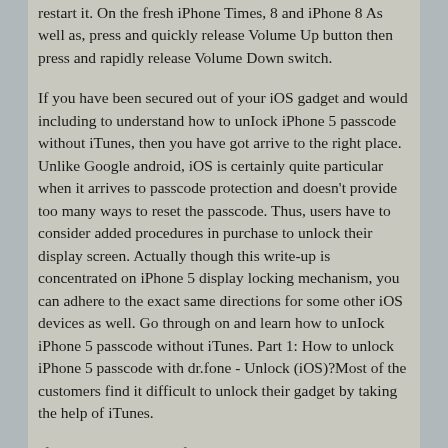restart it. On the fresh iPhone Times, 8 and iPhone 8 As well as, press and quickly release Volume Up button then press and rapidly release Volume Down switch.
If you have been secured out of your iOS gadget and would including to understand how to unIock iPhone 5 passcode without iTunes, then you have got arrive to the right place. Unlike Google android, iOS is certainly quite particular when it arrives to passcode protection and doesn't provide too many ways to reset the passcode. Thus, users have to consider added procedures in purchase to unlock their display screen. Actually though this write-up is concentrated on iPhone 5 display locking mechanism, you can adhere to the exact same directions for some other iOS devices as well. Go through on and learn how to unIock iPhone 5 passcode without iTunes. Part 1: How to unlock iPhone 5 passcode with dr.fone - Unlock (iOS)?Most of the customers find it difficult to unlock their gadget by taking the help of iTunes.
If you can download 2 files and click “next” when prompted, then you can jailbreak your iPhone.What If Something Goes Wrong?It’s very unlikely that something will go wrong If you have a problem, simply plug your iPhone to your computer, launch iTunes, and click “restore”. iPhone jailbreak and unlock software. You're still aren't